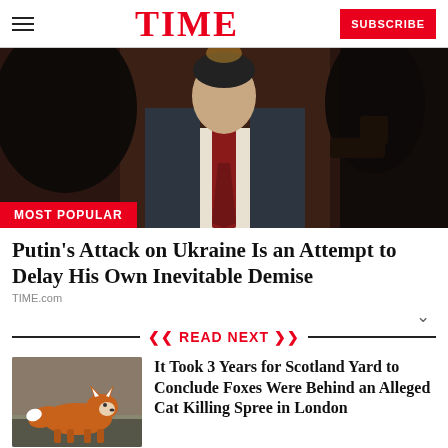TIME — SUBSCRIBE
[Figure (photo): Photo of a man in a dark suit and red tie, with silhouettes of people on either side, dark background with reddish tones. Has a 'MOST POPULAR' badge overlay at bottom left.]
Putin's Attack on Ukraine Is an Attempt to Delay His Own Inevitable Demise
TIME.com
READ NEXT
[Figure (photo): Photo of a fox on a street or pavement in London.]
It Took 3 Years for Scotland Yard to Conclude Foxes Were Behind an Alleged Cat Killing Spree in London